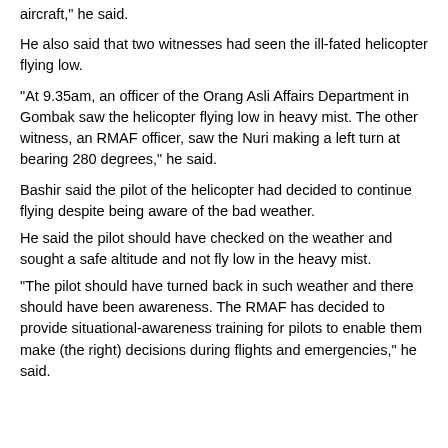aircraft," he said.
He also said that two witnesses had seen the ill-fated helicopter flying low.
“At 9.35am, an officer of the Orang Asli Affairs Department in Gombak saw the helicopter flying low in heavy mist. The other witness, an RMAF officer, saw the Nuri making a left turn at bearing 280 degrees,” he said.
Bashir said the pilot of the helicopter had decided to continue flying despite being aware of the bad weather.
He said the pilot should have checked on the weather and sought a safe altitude and not fly low in the heavy mist.
“The pilot should have turned back in such weather and there should have been awareness. The RMAF has decided to provide situational-awareness training for pilots to enable them make (the right) decisions during flights and emergencies,” he said.